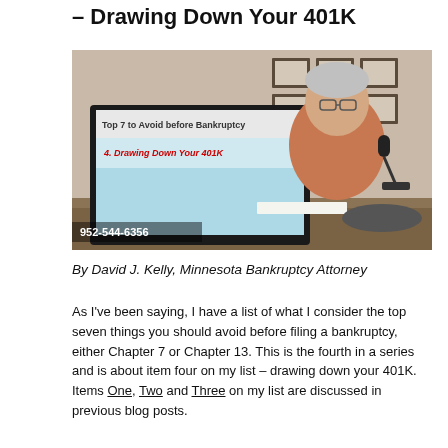– Drawing Down Your 401K
[Figure (photo): Man sitting at desk in front of a monitor displaying 'Top 7 to Avoid before Bankruptcy - 4. Drawing Down Your 401K'. Phone number 952-544-6356 shown in lower left. Framed certificates on wall behind.]
By David J. Kelly, Minnesota Bankruptcy Attorney
As I've been saying, I have a list of what I consider the top seven things you should avoid before filing a bankruptcy, either Chapter 7 or Chapter 13. This is the fourth in a series and is about item four on my list – drawing down your 401K. Items One, Two and Three on my list are discussed in previous blog posts.